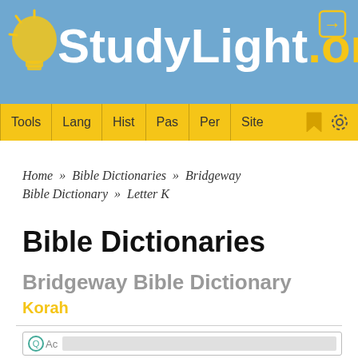StudyLight.org
Tools | Lang | Hist | Pas | Per | Site
Home » Bible Dictionaries » Bridgeway Bible Dictionary » Letter K
Bible Dictionaries
Bridgeway Bible Dictionary
Korah
[Figure (screenshot): Advertisement box with circular logo icon and gray content area]